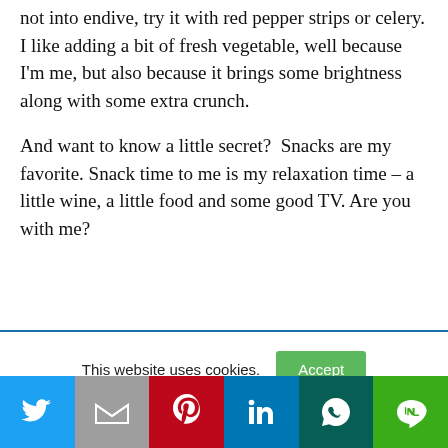not into endive, try it with red pepper strips or celery. I like adding a bit of fresh vegetable, well because I'm me, but also because it brings some brightness along with some extra crunch.
And want to know a little secret?  Snacks are my favorite. Snack time to me is my relaxation time – a little wine, a little food and some good TV. Are you with me?
This website uses cookies.
Social share bar: Twitter, Gmail, Pinterest, LinkedIn, WhatsApp, Line